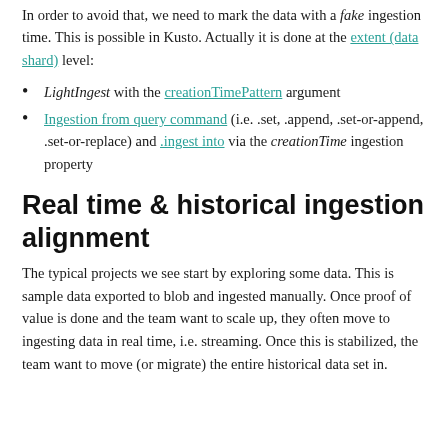In order to avoid that, we need to mark the data with a fake ingestion time. This is possible in Kusto. Actually it is done at the extent (data shard) level:
LightIngest with the creationTimePattern argument
Ingestion from query command (i.e. .set, .append, .set-or-append, .set-or-replace) and .ingest into via the creationTime ingestion property
Real time & historical ingestion alignment
The typical projects we see start by exploring some data. This is sample data exported to blob and ingested manually. Once proof of value is done and the team want to scale up, they often move to ingesting data in real time, i.e. streaming. Once this is stabilized, the team want to move (or migrate) the entire historical data set in.